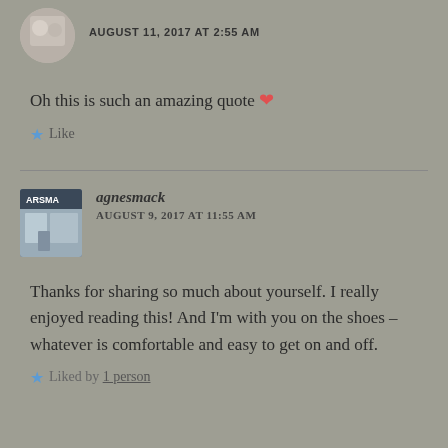AUGUST 11, 2017 AT 2:55 AM
Oh this is such an amazing quote ❤
Like
agnesmack
AUGUST 9, 2017 AT 11:55 AM
Thanks for sharing so much about yourself. I really enjoyed reading this! And I'm with you on the shoes – whatever is comfortable and easy to get on and off.
Liked by 1 person